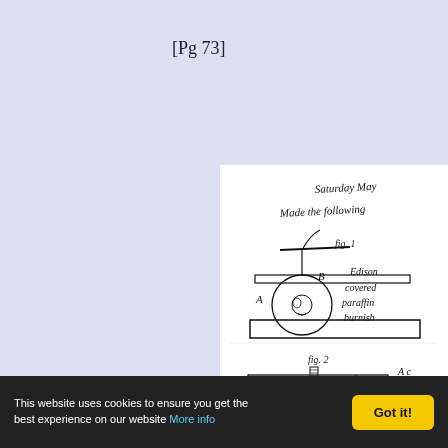[Pg 73]
[Figure (illustration): Scanned manuscript page showing handwritten text (Saturday May... Made the following... Edison... covered... paraffin... burnish... A c... secured... lever B... over thi... Lever... the poi... the and...) alongside two engineering sketches: Fig. 1 shows a mechanical device with a circular component (labeled A and B) on a platform with an arm/lever on top; Fig. 2 shows a box-like mechanical device (labeled C) with internal components visible.]
This website uses cookies to ensure you get the best experience on our website More info